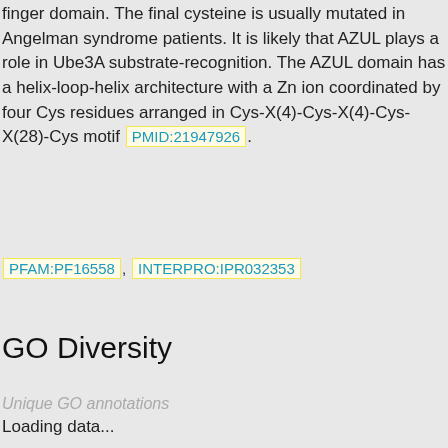finger domain. The final cysteine is usually mutated in Angelman syndrome patients. It is likely that AZUL plays a role in Ube3A substrate-recognition. The AZUL domain has a helix-loop-helix architecture with a Zn ion coordinated by four Cys residues arranged in Cys-X(4)-Cys-X(4)-Cys-X(28)-Cys motif [PMID:21947926].
PFAM:PF16558 , INTERPRO:IPR032353
GO Diversity
Unique GO annotations
Loading data...